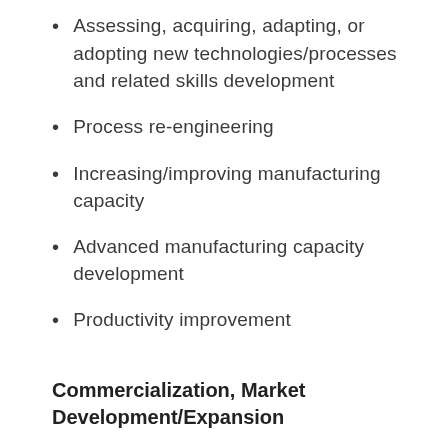Assessing, acquiring, adapting, or adopting new technologies/processes and related skills development
Process re-engineering
Increasing/improving manufacturing capacity
Advanced manufacturing capacity development
Productivity improvement
Commercialization, Market Development/Expansion
adopting new technologies/processes and related skills development